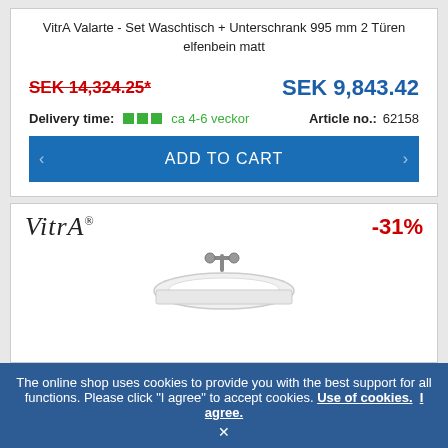VitrA Valarte - Set Waschtisch + Unterschrank 995 mm 2 Türen elfenbein matt
SEK 14,324.25* (strikethrough) | SEK 9,843.42
Delivery time: ca 4-6 veckor   Article no.: 62158
ADD TO CART
[Figure (logo): VitrA logo in italic serif font]
-31%
[Figure (photo): VitrA bathroom sink / washbasin product image]
The online shop uses cookies to provide you with the best support for all functions. Please click "I agree" to accept cookies. Use of cookies. I agree. ×